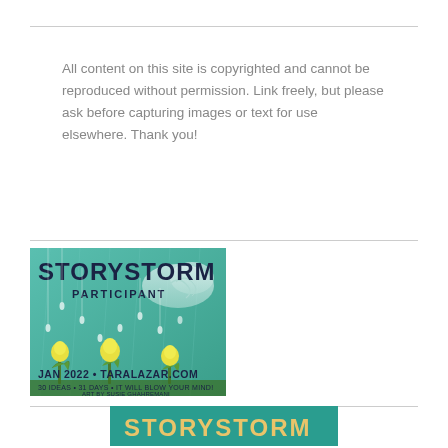All content on this site is copyrighted and cannot be reproduced without permission. Link freely, but please ask before capturing images or text for use elsewhere. Thank you!
[Figure (illustration): StoryStorm Participant badge image for Jan 2022 at taralazar.com. Shows 'STORYSTORM PARTICIPANT' text over a teal/green illustrated background with rain clouds, raindrops, and glowing light bulb flowers. Text reads: '30 IDEAS • 31 DAYS • IT WILL BLOW YOUR MIND! ART BY SUSIE GHAHREMANI']
[Figure (illustration): Partial StoryStorm logo/badge at bottom of page, teal background with yellow 'STORYSTORM' text visible]